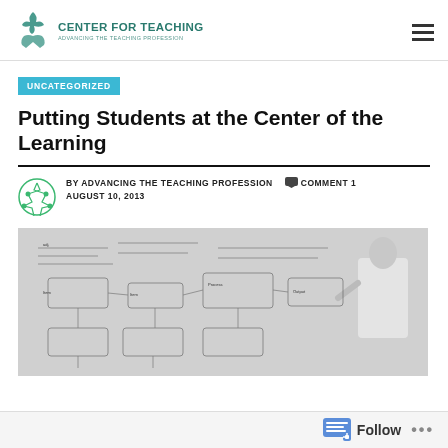Center For Teaching — Advancing the Teaching Profession
UNCATEGORIZED
Putting Students at the Center of the Learning
BY ADVANCING THE TEACHING PROFESSION   COMMENT 1   AUGUST 10, 2013
[Figure (photo): A person writing an elaborate flowchart/diagram on a whiteboard filled with handwritten text and arrows]
Follow